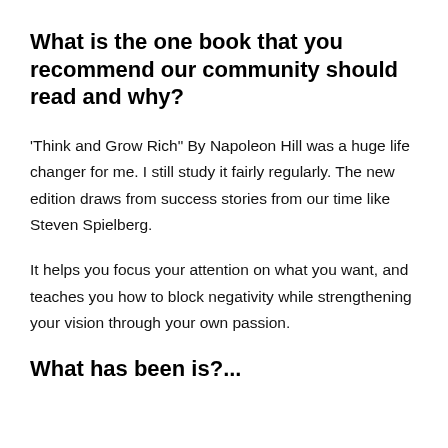What is the one book that you recommend our community should read and why?
'Think and Grow Rich" By Napoleon Hill was a huge life changer for me. I still study it fairly regularly. The new edition draws from success stories from our time like Steven Spielberg.
It helps you focus your attention on what you want, and teaches you how to block negativity while strengthening your vision through your own passion.
What has been is?...